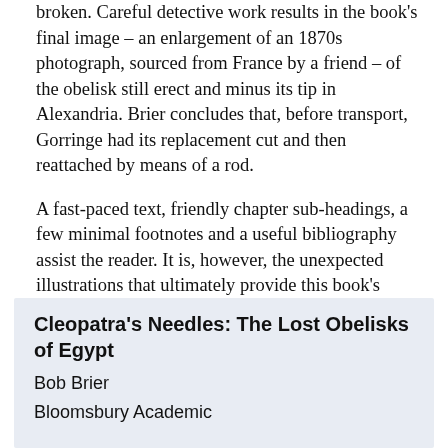broken. Careful detective work results in the book's final image – an enlargement of an 1870s photograph, sourced from France by a friend – of the obelisk still erect and minus its tip in Alexandria. Brier concludes that, before transport, Gorringe had its replacement cut and then reattached by means of a rod.
A fast-paced text, friendly chapter sub-headings, a few minimal footnotes and a useful bibliography assist the reader. It is, however, the unexpected illustrations that ultimately provide this book's captivating originality.
| Cleopatra's Needles: The Lost Obelisks of Egypt |
| Bob Brier |
| Bloomsbury Academic |